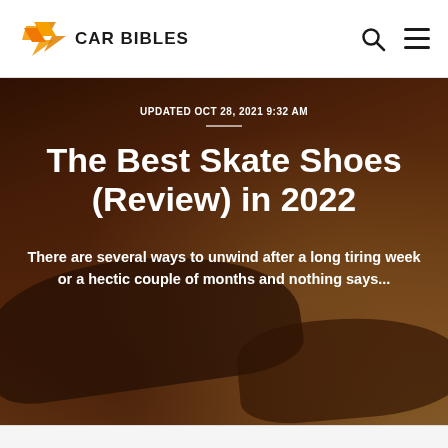CAR BIBLES
UPDATED OCT 28, 2021 9:32 AM
The Best Skate Shoes (Review) in 2022
There are several ways to unwind after a long tiring week or a hectic couple of months and nothing says...
[Figure (photo): Background photo of skate shoes on a skateboard with warm orange/brown tones]